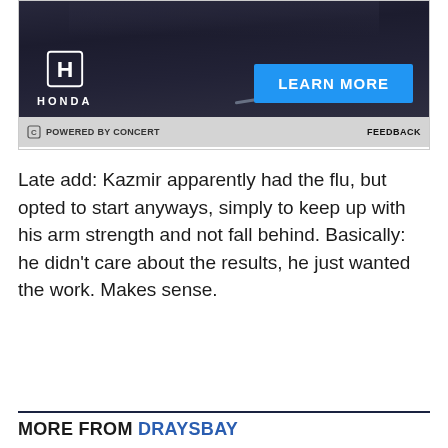[Figure (screenshot): Honda advertisement banner showing a dark car on a road at night. Features Honda H logo and 'HONDA' text on the left, a blue 'LEARN MORE' button on the right. Footer bar reads 'POWERED BY CONCERT' on the left and 'FEEDBACK' on the right.]
Late add: Kazmir apparently had the flu, but opted to start anyways, simply to keep up with his arm strength and not fall behind. Basically: he didn't care about the results, he just wanted the work. Makes sense.
MORE FROM DRAYSBAY